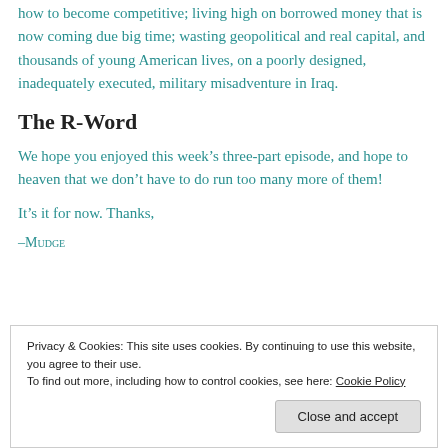how to become competitive; living high on borrowed money that is now coming due big time; wasting geopolitical and real capital, and thousands of young American lives, on a poorly designed, inadequately executed, military misadventure in Iraq.
The R-Word
We hope you enjoyed this week’s three-part episode, and hope to heaven that we don’t have to do run too many more of them!
It’s it for now. Thanks,
–Mudge
Privacy & Cookies: This site uses cookies. By continuing to use this website, you agree to their use.
To find out more, including how to control cookies, see here: Cookie Policy